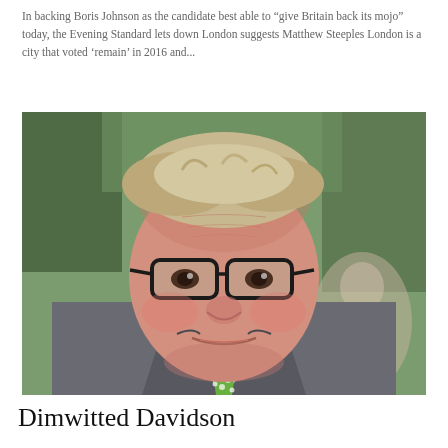In backing Boris Johnson as the candidate best able to “give Britain back its mojo” today, the Evening Standard lets down London suggests Matthew Steeples London is a city that voted ‘remain’ in 2016 and...
[Figure (photo): Close-up photograph of a man with grey-blond hair wearing glasses, a grey suit jacket, white shirt, and a green polka-dot tie. A woman is partially visible in the background.]
Dimwitted Davidson